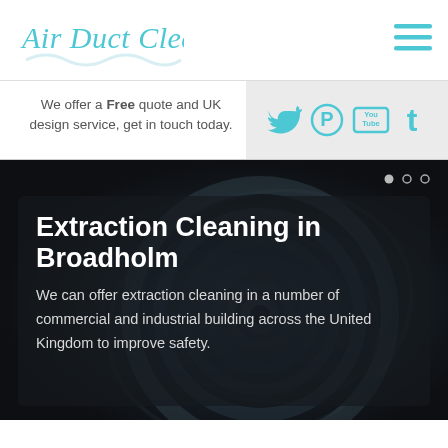[Figure (logo): Air Duct Cleaning cursive teal logo with wave underline]
[Figure (infographic): Hamburger menu icon with three teal horizontal bars]
We offer a Free quote and UK design service, get in touch today.
[Figure (infographic): Social media icons: Twitter bird, Pinterest P, YouTube box, Tumblr t — all in teal on grey background]
[Figure (photo): Dark swirling duct/vortex background image with semi-transparent overlay box containing headline and body text]
Extraction Cleaning in Broadholm
We can offer extraction cleaning in a number of commercial and industrial building across the United Kingdom to improve safety.